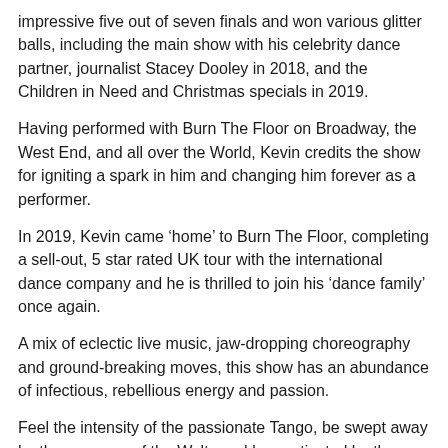impressive five out of seven finals and won various glitter balls, including the main show with his celebrity dance partner, journalist Stacey Dooley in 2018, and the Children in Need and Christmas specials in 2019.
Having performed with Burn The Floor on Broadway, the West End, and all over the World, Kevin credits the show for igniting a spark in him and changing him forever as a performer.
In 2019, Kevin came ‘home’ to Burn The Floor, completing a sell-out, 5 star rated UK tour with the international dance company and he is thrilled to join his ‘dance family’ once again.
A mix of eclectic live music, jaw-dropping choreography and ground-breaking moves, this show has an abundance of infectious, rebellious energy and passion.
Feel the intensity of the passionate Tango, be swept away by the romance of the Waltz and be captivated by the sensual, alluring Rhumba.
“Not just a “feel-good” performance, we are seriously a “feel-